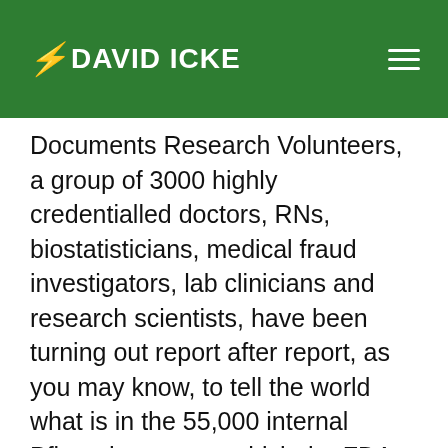DAVID ICKE
Documents Research Volunteers, a group of 3000 highly credentialled doctors, RNs, biostatisticians, medical fraud investigators, lab clinicians and research scientists, have been turning out report after report, as you may know, to tell the world what is in the 55,000 internal Pfizer documents which the FDA had asked a court to keep under wraps for 75 years. By court order, these documents were forcibly disclosed. And our experts are serving humanity by reading through these documents and explaining them in lay terms. You can find all of the Volunteers'